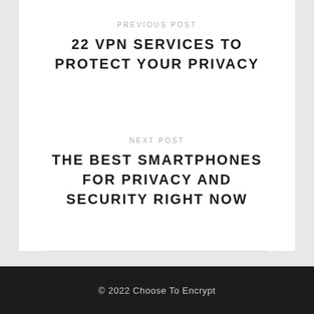PREVIOUS POST
22 VPN SERVICES TO PROTECT YOUR PRIVACY
NEXT POST
THE BEST SMARTPHONES FOR PRIVACY AND SECURITY RIGHT NOW
© 2022 Choose To Encrypt